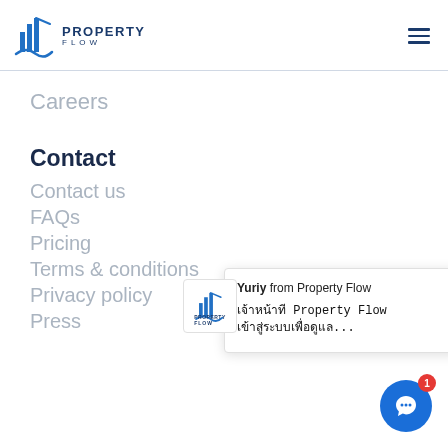[Figure (logo): Property Flow logo with blue building/sail icon and text PROPERTY FLOW]
Careers
Contact
Contact us
FAQs
Pricing
Terms & conditions
Privacy policy
Press
[Figure (screenshot): Chat popup from Yuriy from Property Flow with Thai language message, with Property Flow logo icon and blue chat button with badge showing 1]